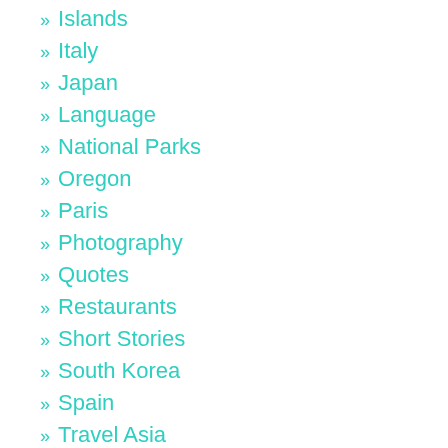Islands
Italy
Japan
Language
National Parks
Oregon
Paris
Photography
Quotes
Restaurants
Short Stories
South Korea
Spain
Travel Asia
UK